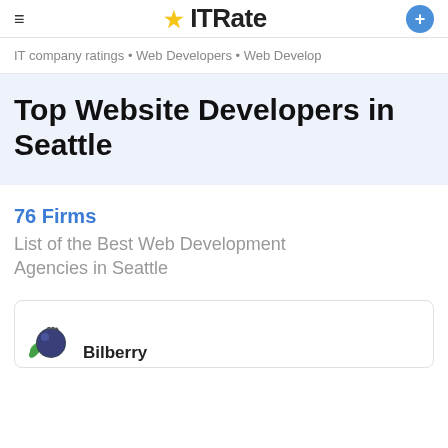IT Rate — navigation header with logo and hamburger menu
IT company ratings • Web Developers • Web Develop
Top Website Developers in Seattle
76 Firms
List of the Best Web Development Agencies in Seattle
[Figure (logo): Bilberry company logo — a blueberry with green leaves]
Bilberry